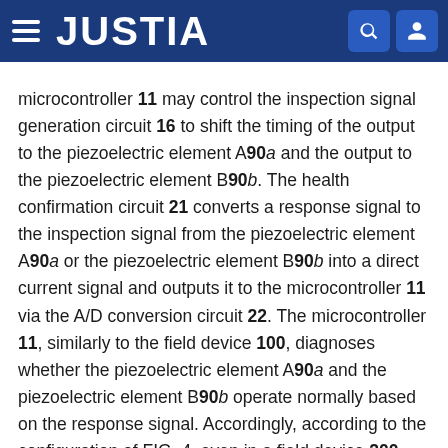JUSTIA
microcontroller 11 may control the inspection signal generation circuit 16 to shift the timing of the output to the piezoelectric element A90a and the output to the piezoelectric element B90b. The health confirmation circuit 21 converts a response signal to the inspection signal from the piezoelectric element A90a or the piezoelectric element B90b into a direct current signal and outputs it to the microcontroller 11 via the A/D conversion circuit 22. The microcontroller 11, similarly to the field device 100, diagnoses whether the piezoelectric element A90a and the piezoelectric element B90b operate normally based on the response signal. Accordingly, according to the configuration of FIG. 4, even in a field device 200 provided with a plurality of piezoelectric elements 90a and 90b, it is determined whether each of the piezoelectric elements 90a and 90b